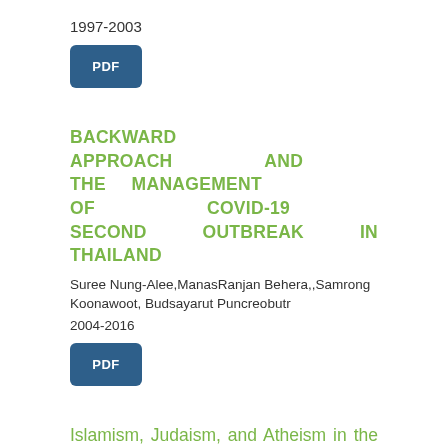1997-2003
[Figure (other): PDF button]
BACKWARD APPROACH AND THE MANAGEMENT OF COVID-19 SECOND OUTBREAK IN THAILAND
Suree Nung-Alee,ManasRanjan Behera,,Samrong Koonawoot, Budsayarut Puncreobutr
2004-2016
[Figure (other): PDF button]
Islamism, Judaism, and Atheism in the Novel Bumi Cinta and Authorship
Dadi Waras Suhardjono, Novi Anoegrajekti, Ninuk Lustyantie, Kundharu Saddhono, Universitas Negeri Jakarta, Indonesia
2017-2024
[Figure (other): PDF button (partial)]